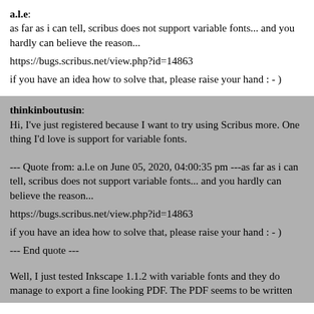a.l.e: as far as i can tell, scribus does not support variable fonts... and you hardly can believe the reason...
https://bugs.scribus.net/view.php?id=14863
if you have an idea how to solve that, please raise your hand : - )
thinkinboutusin: Hi, I've just registered because I want to try using Scribus more. One thing I'd love is support for variable fonts.
--- Quote from: a.l.e on June 05, 2020, 04:00:35 pm ---as far as i can tell, scribus does not support variable fonts... and you hardly can believe the reason...
https://bugs.scribus.net/view.php?id=14863
if you have an idea how to solve that, please raise your hand : - )
--- End quote ---
Well, I just tested Inkscape 1.1.2 with variable fonts and they do manage to export a fine looking PDF. The PDF seems to be written